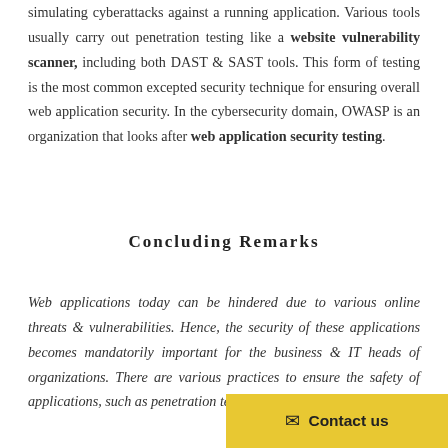simulating cyberattacks against a running application. Various tools usually carry out penetration testing like a website vulnerability scanner, including both DAST & SAST tools. This form of testing is the most common excepted security technique for ensuring overall web application security. In the cybersecurity domain, OWASP is an organization that looks after web application security testing.
Concluding Remarks
Web applications today can be hindered due to various online threats & vulnerabilities. Hence, the security of these applications becomes mandatorily important for the business & IT heads of organizations. There are various practices to ensure the safety of applications, such as penetration testing (as discussed in the bl...